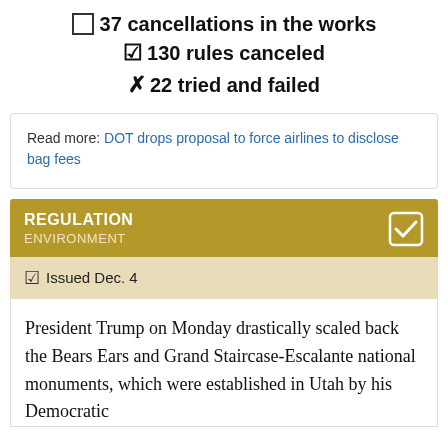☐ 37 cancellations in the works
☑ 130 rules canceled
✗ 22 tried and failed
Read more: DOT drops proposal to force airlines to disclose bag fees
REGULATION ENVIRONMENT
☑ Issued Dec. 4
President Trump on Monday drastically scaled back the Bears Ears and Grand Staircase-Escalante national monuments, which were established in Utah by his Democratic